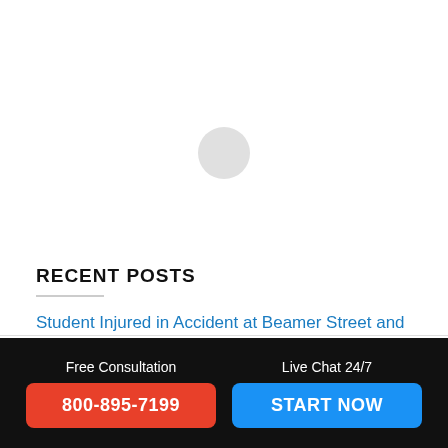[Figure (other): Light gray circle placeholder image in upper white area]
RECENT POSTS
Student Injured in Accident at Beamer Street and California Street [Woodland, CA]
Free Consultation
800-895-7199
Live Chat 24/7
START NOW